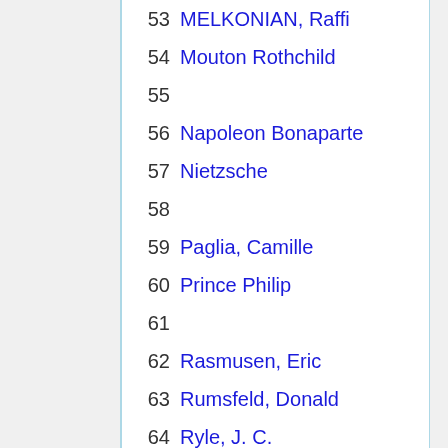53 MELKONIAN, Raffi
54 Mouton Rothchild
55
56 Napoleon Bonaparte
57 Nietzsche
58
59 Paglia, Camille
60 Prince Philip
61
62 Rasmusen, Eric
63 Rumsfeld, Donald
64 Ryle, J. C.
65
66 Sailer, Steve
67 Schumpeter, Joseph
68 Silverglate
69 Smethurst
70 Sowell, Thomas
71 Spurgeon
72 Stalin, Joseph